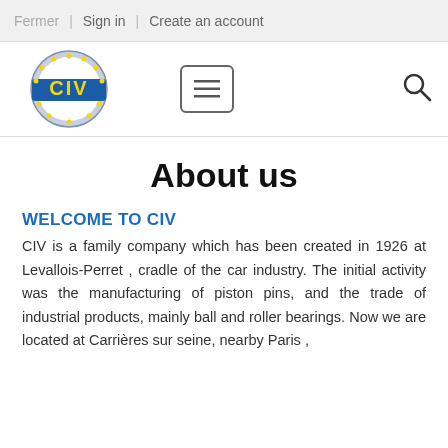Fermer | Sign in | Create an account
[Figure (logo): CIV company logo: circular badge with blue border, yellow stars around the perimeter, and yellow 'CIV' text on a blue rectangular background in the center.]
About us
WELCOME TO CIV
CIV is a family company which has been created in 1926 at Levallois-Perret , cradle of the car industry. The initial activity was the manufacturing of piston pins, and the trade of industrial products, mainly ball and roller bearings. Now we are located at Carrières sur seine, nearby Paris ,